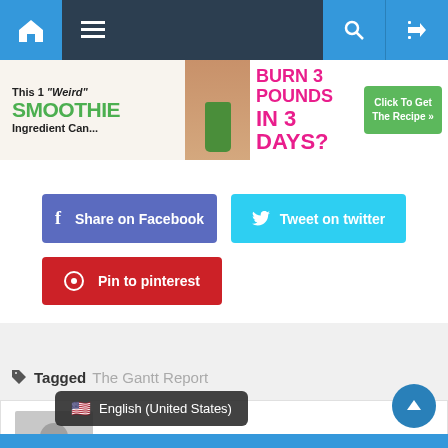[Figure (screenshot): Website navigation bar with home icon, hamburger menu, search and shuffle icons on dark background with blue accent icons]
[Figure (infographic): Advertisement banner: 'This 1 Weird Smoothie Ingredient Can... BURN 3 POUNDS IN 3 DAYS?' with a green smoothie image and Click To Get The Recipe button]
Share on Facebook
Tweet on twitter
Pin to pinterest
Tagged The Gantt Report
Mahogany Revue
English (United States)